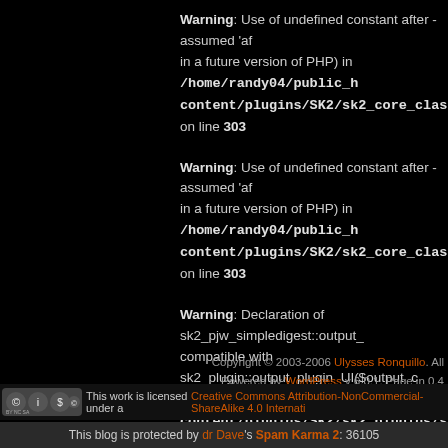Warning: Use of undefined constant after - assumed 'af in a future version of PHP) in /home/randy04/public_html/wp-content/plugins/SK2/sk2_core_class.php on line 303
Warning: Use of undefined constant after - assumed 'af in a future version of PHP) in /home/randy04/public_html/wp-content/plugins/SK2/sk2_core_class.php on line 303
Warning: Declaration of sk2_pjw_simpledigest::output_ compatible with sk2_plugin::output_plugin_UI($output_c /home/randy04/public_html/wp-content/plugins/SK2/sk2_plugins/sk2_pjw_daily_dig
Copyright © 2003-2006 Ulysses Ronquillo. All Rights Reserved. Powered by WordPress v 6.0.1. Page in 0.4
This work is licensed under a Creative Commons Attribution-NonCommercial-ShareAlike 4.0 International
This blog is protected by dr Dave's Spam Karma 2: 36105